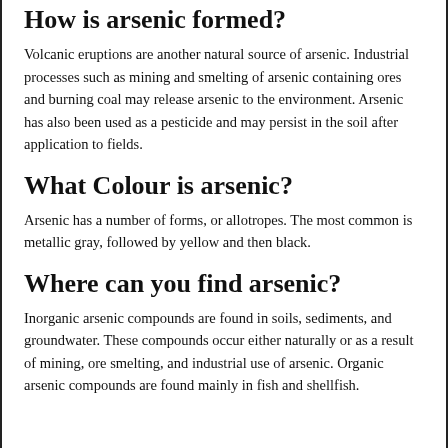How is arsenic formed?
Volcanic eruptions are another natural source of arsenic. Industrial processes such as mining and smelting of arsenic containing ores and burning coal may release arsenic to the environment. Arsenic has also been used as a pesticide and may persist in the soil after application to fields.
What Colour is arsenic?
Arsenic has a number of forms, or allotropes. The most common is metallic gray, followed by yellow and then black.
Where can you find arsenic?
Inorganic arsenic compounds are found in soils, sediments, and groundwater. These compounds occur either naturally or as a result of mining, ore smelting, and industrial use of arsenic. Organic arsenic compounds are found mainly in fish and shellfish.